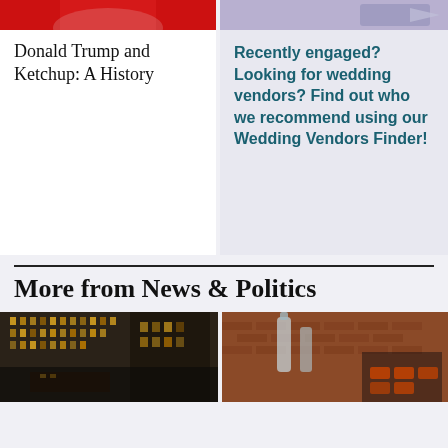[Figure (photo): Red background image at top of left card (partial, cropped)]
Donald Trump and Ketchup: A History
[Figure (photo): Purple/blue background image at top of right card (partial, cropped)]
Recently engaged? Looking for wedding vendors? Find out who we recommend using our Wedding Vendors Finder!
More from News & Politics
[Figure (photo): Night photo of illuminated building interior/exterior with warm golden lights]
[Figure (photo): Photo of a brick wall interior with bottles and seating/bar setting]